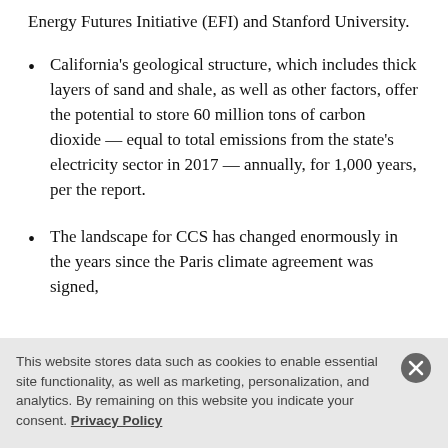Energy Futures Initiative (EFI) and Stanford University.
California's geological structure, which includes thick layers of sand and shale, as well as other factors, offer the potential to store 60 million tons of carbon dioxide — equal to total emissions from the state's electricity sector in 2017 — annually, for 1,000 years, per the report.
The landscape for CCS has changed enormously in the years since the Paris climate agreement was signed,
This website stores data such as cookies to enable essential site functionality, as well as marketing, personalization, and analytics. By remaining on this website you indicate your consent. Privacy Policy